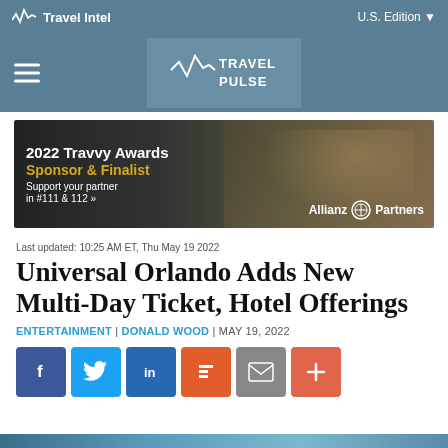Travel Intel | U.S. Edition
[Figure (logo): Travel Pulse logo with pulse waveform icon on teal background]
[Figure (infographic): 2022 Travvy Awards Sponsor & Finalist advertisement for Allianz Partners, support your partner in #111 & 112]
Last updated: 10:25 AM ET, Thu May 19 2022
Universal Orlando Adds New Multi-Day Ticket, Hotel Offerings
ENTERTAINMENT | DONALD WOOD | MAY 19, 2022
[Figure (infographic): Social share buttons: Facebook, Twitter, LinkedIn, Flipboard, Email, Plus]
[Figure (photo): Bottom strip image preview]